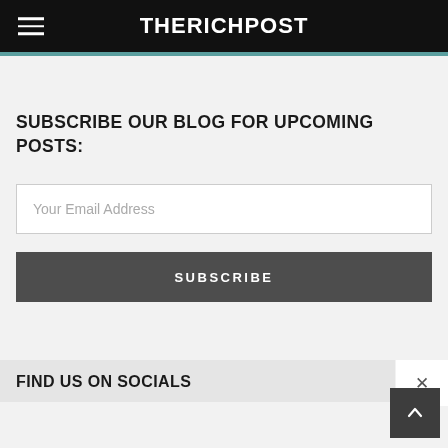THERICHPOST
SUBSCRIBE OUR BLOG FOR UPCOMING POSTS:
Your Email Address
SUBSCRIBE
FIND US ON SOCIALS